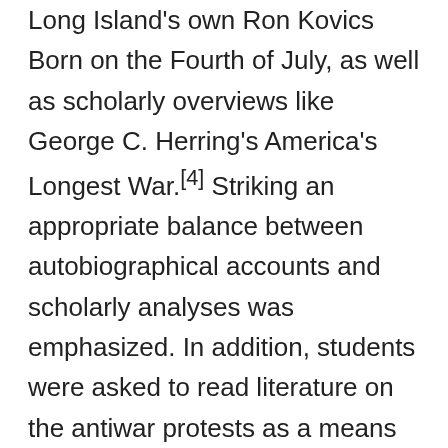Long Island's own Ron Kovics Born on the Fourth of July, as well as scholarly overviews like George C. Herring's America's Longest War.[4] Striking an appropriate balance between autobiographical accounts and scholarly analyses was emphasized. In addition, students were asked to read literature on the antiwar protests as a means of assessing the effectiveness of social and political movements impacting Long Island's public opinion. At the beginning of the school year I arranged a class session in the school library, a process I still continue for new research projects. The librarian discussed pertinent books available and what resources students could use to assist them. As is generally the case, the librarian gave them advice on resources they could use.